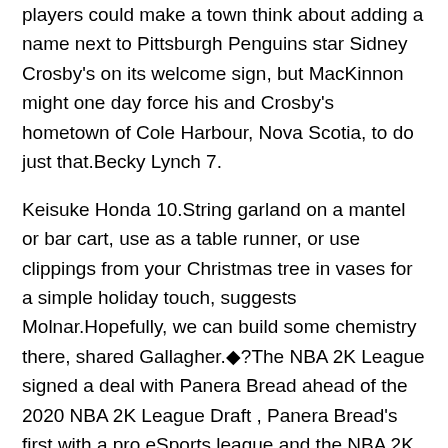players could make a town think about adding a name next to Pittsburgh Penguins star Sidney Crosby's on its welcome sign, but MacKinnon might one day force his and Crosby's hometown of Cole Harbour, Nova Scotia, to do just that.Becky Lynch 7.
Keisuke Honda 10.String garland on a mantel or bar cart, use as a table runner, or use clippings from your Christmas tree in vases for a simple holiday touch, suggests Molnar.Hopefully, we can build some chemistry there, shared Gallagher.◆?The NBA 2K League signed a deal with Panera Bread ahead of the 2020 NBA 2K League Draft , Panera Bread's first with a pro eSports league and the NBA 2K League's first with a restaurant partner.
I have worked with Don for 30 years, and we both love hockey.Not so for you on this day however as the planetary